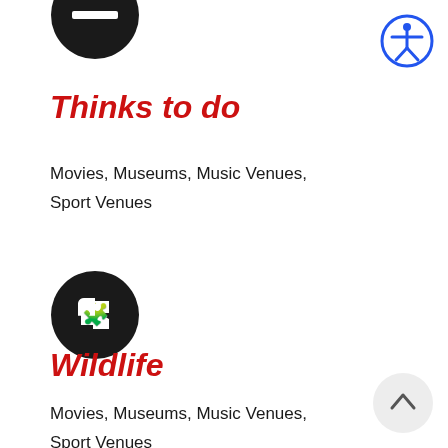[Figure (illustration): Partially visible black circular icon at top, showing a minus/dash symbol inside]
[Figure (illustration): Blue circular accessibility icon (person with arms out) in top right corner]
Thinks to do
Movies, Museums, Music Venues, Sport Venues
[Figure (illustration): Black circular icon with white puzzle piece symbol]
Wildlife
Movies, Museums, Music Venues, Sport Venues
[Figure (illustration): Light grey circular scroll-up button with chevron/caret up arrow, bottom right]